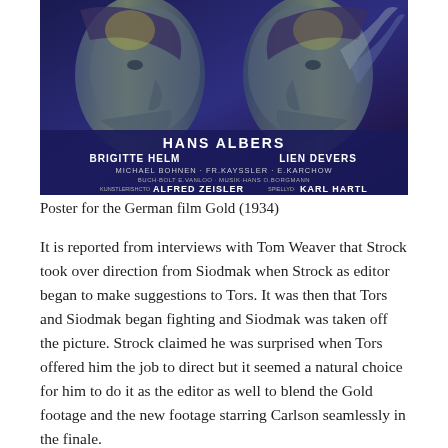[Figure (illustration): Movie poster for the German film Gold (1934) showing two faces in profile facing each other against a blue background. Text on the poster reads: HANS ALBERS, BRIGITTE HELM, LIEN DEVERS, MICHAEL BOHNEN · FR.KAYSSLER · E.KARCHOW, BUCH·BOLT E.VANLOO · MUSIK·HANS O.BORGMANN, KUNSTLERISHCTO ALFRED ZEISLER SPIELLYD· KARL HARTL]
Poster for the German film Gold (1934)
It is reported from interviews with Tom Weaver that Strock took over direction from Siodmak when Strock as editor began to make suggestions to Tors. It was then that Tors and Siodmak began fighting and Siodmak was taken off the picture. Strock claimed he was surprised when Tors offered him the job to direct but it seemed a natural choice for him to do it as the editor as well to blend the Gold footage and the new footage starring Carlson seamlessly in the finale.